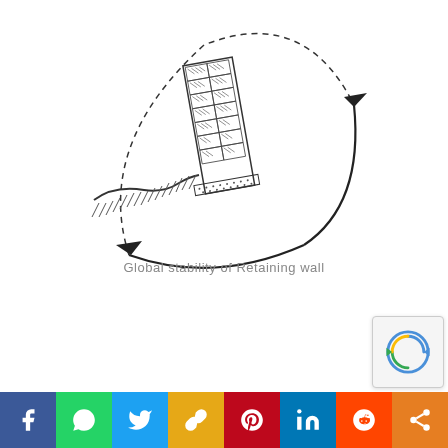[Figure (engineering-diagram): Engineering diagram showing global stability of a retaining wall. A cross-section of a retaining wall with hatched masonry blocks is shown with a dashed circular arc indicating the failure/slip circle. Two curved arrows show the rotational sliding direction — one at top right swinging downward, one at bottom left swinging left, indicating global rotational instability.]
Global stability of Retaining wall